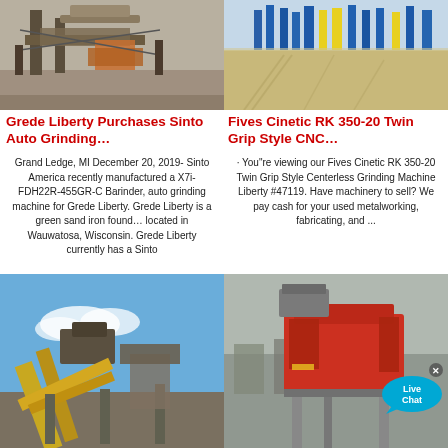[Figure (photo): Industrial grinding or sand casting machine, metal structure, outdoor industrial setting]
[Figure (photo): Large sand/gravel yard with blue and yellow industrial structures in background]
Grede Liberty Purchases Sinto Auto Grinding…
Fives Cinetic RK 350-20 Twin Grip Style CNC…
Grand Ledge, MI December 20, 2019- Sinto America recently manufactured a X7i-FDH22R-455GR-C Barinder, auto grinding machine for Grede Liberty. Grede Liberty is a green sand iron found… located in Wauwatosa, Wisconsin. Grede Liberty currently has a Sinto
· You"re viewing our Fives Cinetic RK 350-20 Twin Grip Style Centerless Grinding Machine Liberty #47119. Have machinery to sell? We pay cash for your used metalworking, fabricating, and ...
[Figure (photo): Yellow conveyor belts and industrial mining/crushing equipment against blue sky]
[Figure (photo): Red and grey industrial machine, possibly a vibrating screen or classifier, outdoor industrial setting]